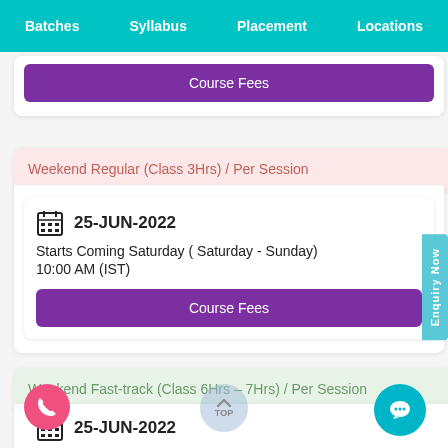Batches   Syllabus   Placement   Locations
[Figure (screenshot): Purple Course Fees button (partially visible at top)]
Weekend Regular (Class 3Hrs) / Per Session
25-JUN-2022
Starts Coming Saturday ( Saturday - Sunday)
10:00 AM (IST)
[Figure (screenshot): Course Fees purple button]
Weekend Fast-track (Class 6Hrs – 7Hrs) / Per Session
25-JUN-2022